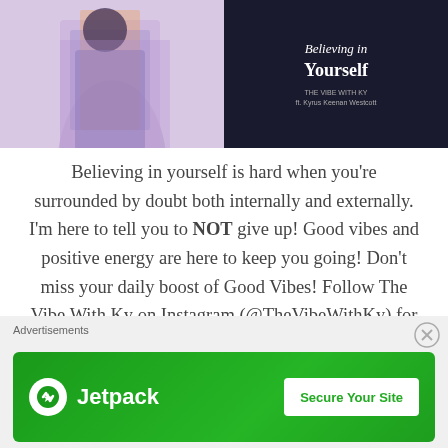[Figure (photo): Left half: person from behind with colorful scarf/jacket; Right half: dark background with book cover text 'Believing in Yourself, The Vibe With Ky ft. Kyrus Keenan Westcott']
Believing in yourself is hard when you’re surrounded by doubt both internally and externally. I’m here to tell you to NOT give up! Good vibes and positive energy are here to keep you going! Don’t miss your daily boost of Good Vibes! Follow The Vibe With Ky on Instagram (@TheVibeWithKy) for your daily dose of
Advertisements
[Figure (screenshot): Jetpack advertisement banner with green background, Jetpack logo on left and 'Secure Your Site' white button on right]